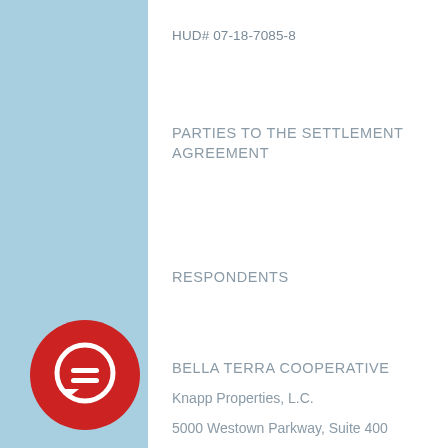HUD# 07-18-7085-8
PARTIES TO THE SETTLEMENT AGREEMENT
RESPONDENTS
BELLA TERRA COOPERATIVE
Knapp Properties, L.C.
5000 Westown Parkway, Suite 400